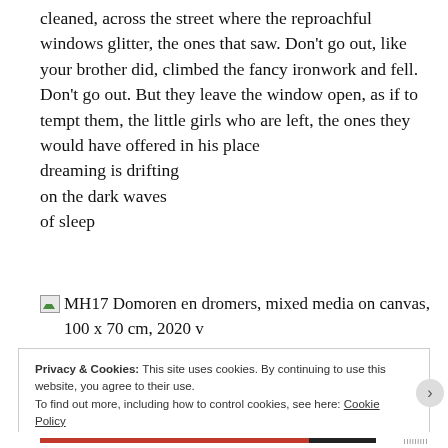cleaned, across the street where the reproachful windows glitter, the ones that saw. Don't go out, like your brother did, climbed the fancy ironwork and fell. Don't go out. But they leave the window open, as if to tempt them, the little girls who are left, the ones they would have offered in his place dreaming is drifting on the dark waves of sleep
MH17 Domoren en dromers, mixed media on canvas, 100 x 70 cm, 2020 v
Privacy & Cookies: This site uses cookies. By continuing to use this website, you agree to their use. To find out more, including how to control cookies, see here: Cookie Policy
Close and accept